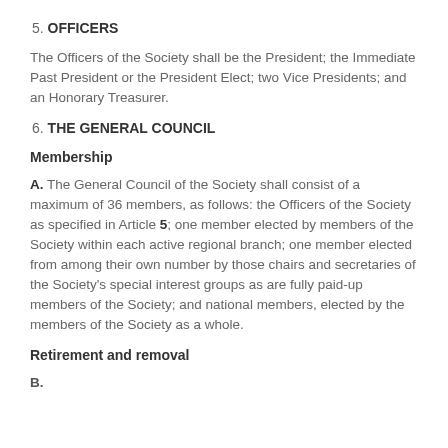5. OFFICERS
The Officers of the Society shall be the President; the Immediate Past President or the President Elect; two Vice Presidents; and an Honorary Treasurer.
6. THE GENERAL COUNCIL
Membership
A. The General Council of the Society shall consist of a maximum of 36 members, as follows: the Officers of the Society as specified in Article 5; one member elected by members of the Society within each active regional branch; one member elected from among their own number by those chairs and secretaries of the Society's special interest groups as are fully paid-up members of the Society; and national members, elected by the members of the Society as a whole.
Retirement and removal
B.